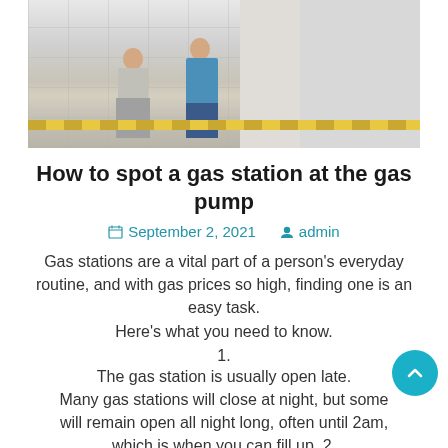[Figure (photo): Two people standing in what appears to be a gas station or service station interior. One person wearing gray/beige clothing, another in blue jacket and jeans. Tiled floor with yellow safety stripe. White cabinets or equipment in background.]
How to spot a gas station at the gas pump
September 2, 2021   admin
Gas stations are a vital part of a person's everyday routine, and with gas prices so high, finding one is an easy task. Here's what you need to know.
1.
The gas station is usually open late. Many gas stations will close at night, but some will remain open all night long, often until 2am, which is when you can fill up. 2.
There are usually lots of people at the station.